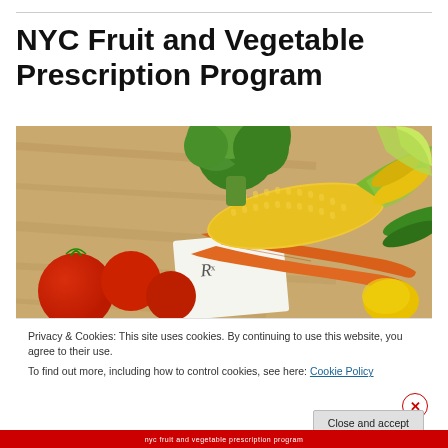NYC Fruit and Vegetable Prescription Program
[Figure (photo): Photo of fresh vegetables including broccoli, corn on the cob, tomatoes, carrots, zucchini, and a yellow pepper arranged on a wooden cutting board with a prescription (Rx) slip visible underneath]
Privacy & Cookies: This site uses cookies. By continuing to use this website, you agree to their use.
To find out more, including how to control cookies, see here: Cookie Policy
Close and accept